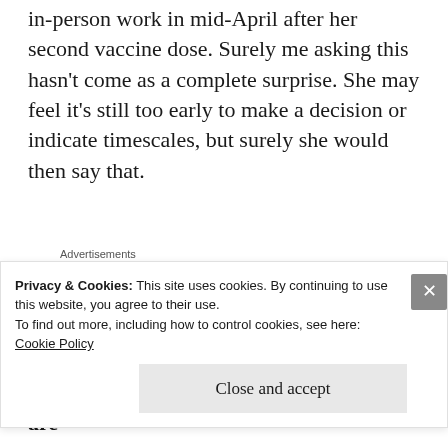in-person work in mid-April after her second vaccine dose. Surely me asking this hasn't come as a complete surprise. She may feel it's still too early to make a decision or indicate timescales, but surely she would then say that.
Advertisements
[Figure (other): WordPress advertisement banner with text 'Professionally designed sites in less than a week' and WordPress logo]
All kinds of explanations and possibilities are
Privacy & Cookies: This site uses cookies. By continuing to use this website, you agree to their use.
To find out more, including how to control cookies, see here: Cookie Policy
Close and accept